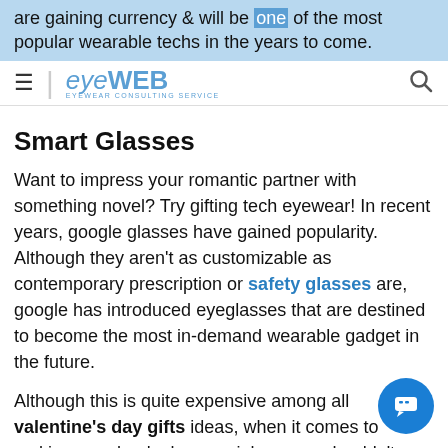are gaining currency & will be one of the most popular wearable techs in the years to come.
eyeWEB
Smart Glasses
Want to impress your romantic partner with something novel? Try gifting tech eyewear! In recent years, google glasses have gained popularity. Although they aren't as customizable as contemporary prescription or safety glasses are, google has introduced eyeglasses that are destined to become the most in-demand wearable gadget in the future.
Although this is quite expensive among all valentine's day gifts ideas, when it comes to making your bae's day special, money shouldn't a snag at all. Moreover, this is something that needed to be bought once & then used for a